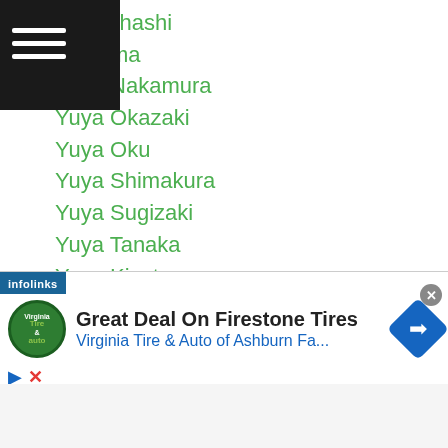o Takahashi
a Azuma
Yuya Nakamura
Yuya Okazaki
Yuya Oku
Yuya Shimakura
Yuya Sugizaki
Yuya Tanaka
Yuzo Kiyota
Zhanat Zhakiyanov
Zhang Junlong
Zhang Zhilei
Zhanibek Alimkhanuly
Zhankhozh Turarov
Zhan Kossobutskiy
l Omirbay
[Figure (infographic): Advertisement banner: Great Deal On Firestone Tires - Virginia Tire & Auto of Ashburn Fa... with infolinks label, logo, and navigation arrow icon]